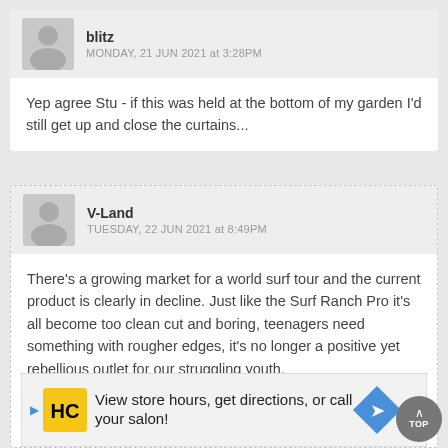blitz
MONDAY, 21 JUN 2021 at 3:28PM
Yep agree Stu - if this was held at the bottom of my garden I'd still get up and close the curtains...
V-Land
TUESDAY, 22 JUN 2021 at 8:49PM
There's a growing market for a world surf tour and the current product is clearly in decline. Just like the Surf Ranch Pro it's all become too clean cut and boring, teenagers need something with rougher edges, it's no longer a positive yet rebellious outlet for our struggling youth.
[Figure (screenshot): Advertisement banner: View store hours, get directions, or call your salon!]
[Figure (other): TOP scroll-to-top button]